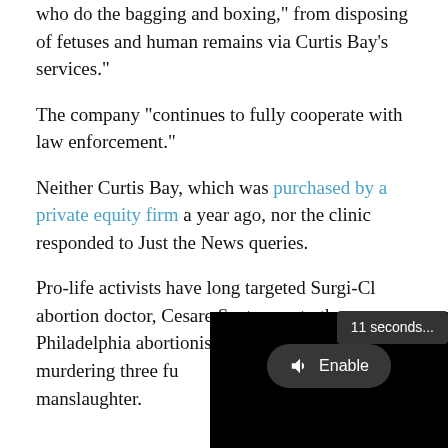who do the bagging and boxing, from disposing of fetuses and human remains via Curtis Bay's services."
The company "continues to fully cooperate with law enforcement."
Neither Curtis Bay, which was purchased by a private equity firm a year ago, nor the clinic responded to Just the News queries.
Pro-life activists have long targeted Surgi-Cli... abortion doctor, Cesare Santa... to the Philadelphia abortionist... in 2013 of murdering three fu... a woman's involuntary manslaughter.
[Figure (screenshot): Video player overlay showing '11 seconds...' timer badge, an 'Enable' button with speaker icon, and 'Loading' text with dots on black background]